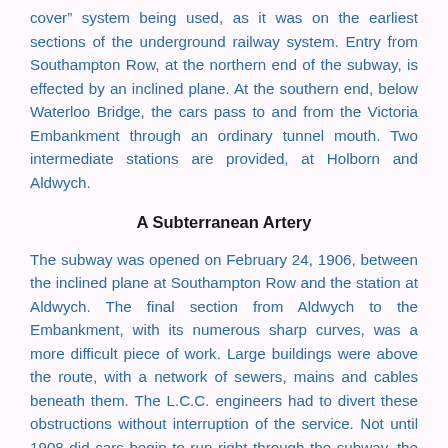cover" system being used, as it was on the earliest sections of the underground railway system. Entry from Southampton Row, at the northern end of the subway, is effected by an inclined plane. At the southern end, below Waterloo Bridge, the cars pass to and from the Victoria Embankment through an ordinary tunnel mouth. Two intermediate stations are provided, at Holborn and Aldwych.
A Subterranean Artery
The subway was opened on February 24, 1906, between the inclined plane at Southampton Row and the station at Aldwych. The final section from Aldwych to the Embankment, with its numerous sharp curves, was a more difficult piece of work. Large buildings were above the route, with a network of sewers, mains and cables beneath them. The L.C.C. engineers had to divert these obstructions without interruption of the service. Not until 1908 did cars begin to run right through the subway, the opening date being April 10. As originally built, the subway